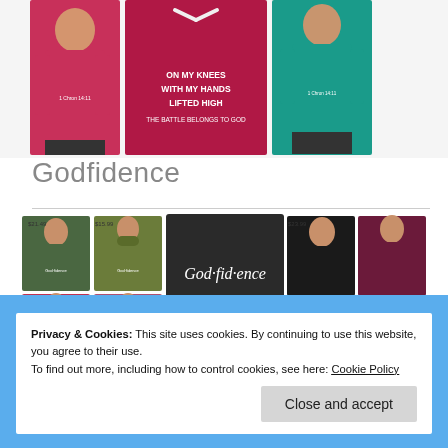[Figure (photo): Product images of Christian-themed t-shirts: a woman in a red/pink shirt, a dark pink graphic tee with text 'ON MY KNEES WITH MY HANDS LIFTED HIGH THE BATTLE BELONGS TO GOD', and a man in a teal shirt]
Godfidence
[Figure (photo): Grid of Christian-themed apparel products including Godfidence branded hoodies, long-sleeve shirts, and graphic tees with prices $21.49, $15.99, $32.99, $15.99, $23.99]
Privacy & Cookies: This site uses cookies. By continuing to use this website, you agree to their use. To find out more, including how to control cookies, see here: Cookie Policy
Close and accept